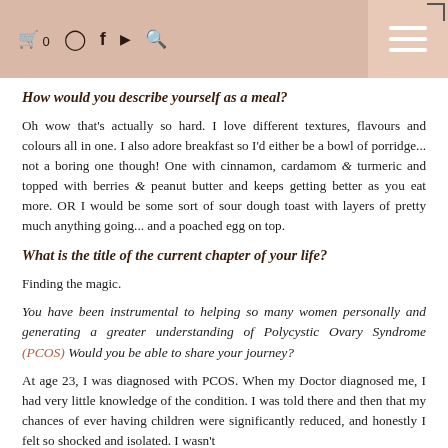🛒 0  [Instagram] [Facebook] [YouTube] [Search]
How would you describe yourself as a meal?
Oh wow that's actually so hard. I love different textures, flavours and colours all in one. I also adore breakfast so I'd either be a bowl of porridge... not a boring one though! One with cinnamon, cardamom & turmeric and topped with berries & peanut butter and keeps getting better as you eat more. OR I would be some sort of sour dough toast with layers of pretty much anything going... and a poached egg on top.
What is the title of the current chapter of your life?
Finding the magic.
You have been instrumental to helping so many women personally and generating a greater understanding of Polycystic Ovary Syndrome (PCOS) Would you be able to share your journey?
At age 23, I was diagnosed with PCOS. When my Doctor diagnosed me, I had very little knowledge of the condition. I was told there and then that my chances of ever having children were significantly reduced, and honestly I felt so shocked and isolated. I wasn't